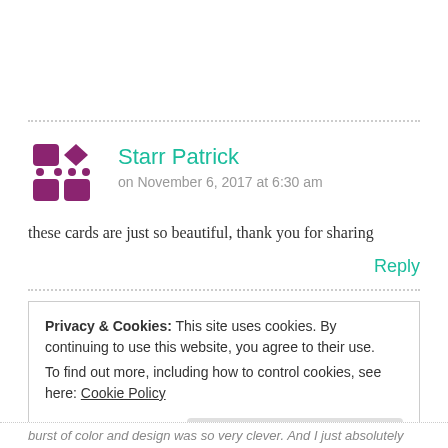[Figure (illustration): Purple avatar icon made of diamond and arrow shapes arranged in a 2x2 grid pattern]
Starr Patrick
on November 6, 2017 at 6:30 am
these cards are just so beautiful, thank you for sharing
Reply
Privacy & Cookies: This site uses cookies. By continuing to use this website, you agree to their use.
To find out more, including how to control cookies, see here: Cookie Policy
Close and accept
burst of color and design was so very clever. And I just absolutely